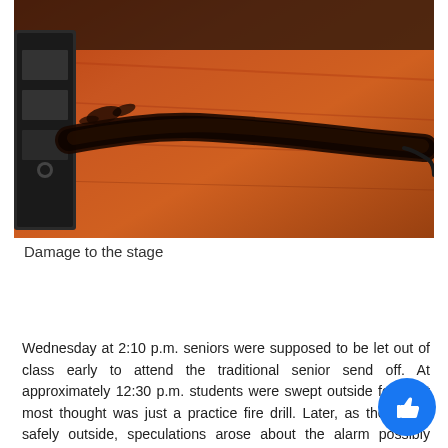[Figure (photo): Photo showing fire damage to a wooden stage floor, with a burned/charred cable or material stretched across the surface. A black equipment case is visible on the left.]
Damage to the stage
Wednesday at 2:10 p.m. seniors were supposed to be let out of class early to attend the traditional senior send off. At approximately 12:30 p.m. students were swept outside for what most thought was just a practice fire drill. Later, as they were safely outside, speculations arose about the alarm possibly being part of an assumed senior prank. The actual reason that the fire alarm went off was because a fire started on stage in the auditorium. The cause of the fire has been determined to be accidental due to a lighting issue. English teacher  and Theatre director Mr. Erik Eitrheim said, “It was a series of events that led to a misfortunate accident. This was not planned by anybody or an explosion in a boiler room.” A light called a runt, made by Altman, was supp…